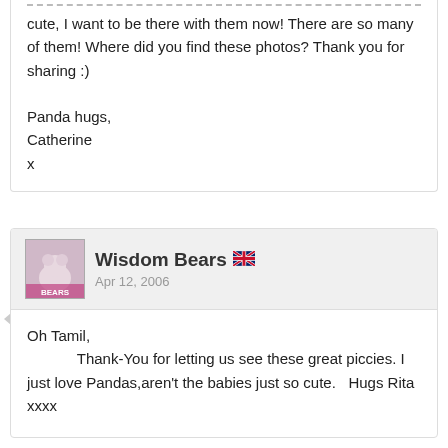cute, I want to be there with them now!  There are so many of them!  Where did you find these photos?  Thank you for sharing :)

Panda hugs,
Catherine
x
Wisdom Bears  Apr 12, 2006
Oh Tamil,
            Thank-You for letting us see these great piccies. I just love Pandas,aren't the babies just so cute.   Hugs Rita xxxx